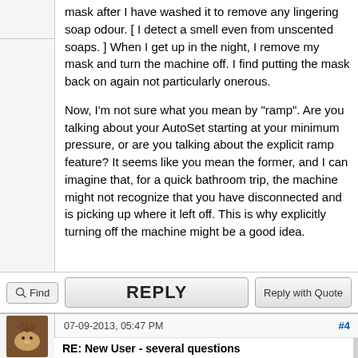mask after I have washed it to remove any lingering soap odour. [ I detect a smell even from unscented soaps. ] When I get up in the night, I remove my mask and turn the machine off. I find putting the mask back on again not particularly onerous.
Now, I'm not sure what you mean by "ramp". Are you talking about your AutoSet starting at your minimum pressure, or are you talking about the explicit ramp feature? It seems like you mean the former, and I can imagine that, for a quick bathroom trip, the machine might not recognize that you have disconnected and is picking up where it left off. This is why explicitly turning off the machine might be a good idea.
Find
REPLY
Reply with Quote
07-09-2013, 05:47 PM
#4
RE: New User - several questions